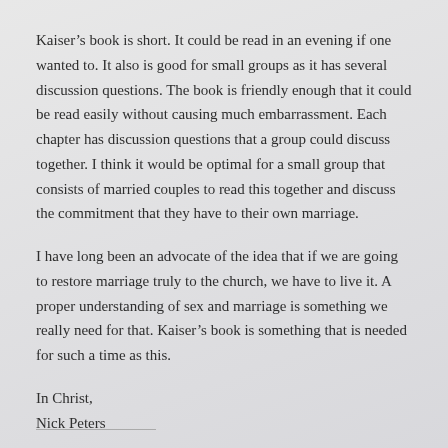Kaiser's book is short. It could be read in an evening if one wanted to. It also is good for small groups as it has several discussion questions. The book is friendly enough that it could be read easily without causing much embarrassment. Each chapter has discussion questions that a group could discuss together. I think it would be optimal for a small group that consists of married couples to read this together and discuss the commitment that they have to their own marriage.
I have long been an advocate of the idea that if we are going to restore marriage truly to the church, we have to live it. A proper understanding of sex and marriage is something we really need for that. Kaiser's book is something that is needed for such a time as this.
In Christ,
Nick Peters